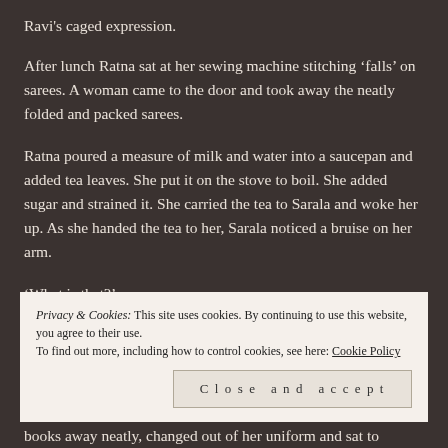Ravi's caged expression.
After lunch Ratna sat at her sewing machine stitching ‘falls’ on sarees. A woman came to the door and took away the neatly folded and packed sarees.
Ratna poured a measure of milk and water into a saucepan and added tea leaves. She put it on the stove to boil. She added sugar and strained it. She carried the tea to Sarala and woke her up. As she handed the tea to her, Sarala noticed a bruise on her arm.
‘What is that?’
Privacy & Cookies: This site uses cookies. By continuing to use this website, you agree to their use.
To find out more, including how to control cookies, see here: Cookie Policy
Close and accept
books away neatly, changed out of her uniform and sat to